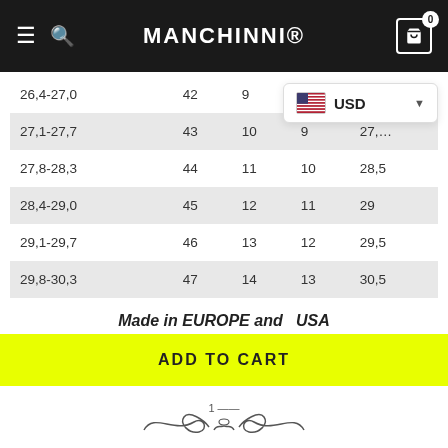MANCHINNI®
| 26,4-27,0 | 42 | 9 | 8 |  |
| 27,1-27,7 | 43 | 10 | 9 | 27,… |
| 27,8-28,3 | 44 | 11 | 10 | 28,5 |
| 28,4-29,0 | 45 | 12 | 11 | 29 |
| 29,1-29,7 | 46 | 13 | 12 | 29,5 |
| 29,8-30,3 | 47 | 14 | 13 | 30,5 |
Made in EUROPE and USA
ADD TO CART